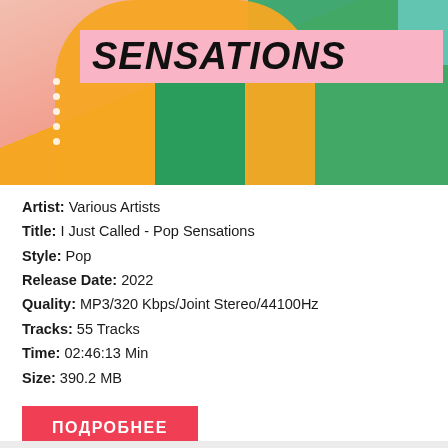[Figure (illustration): Album cover artwork for 'I Just Called - Pop Sensations' showing a person in an orange/yellow blazer over a green dress against a pink/teal background. A pink banner with bold italic text 'SENSATIONS' is overlaid on the image.]
Artist: Various Artists
Title: I Just Called - Pop Sensations
Style: Pop
Release Date: 2022
Quality: MP3/320 Kbps/Joint Stereo/44100Hz
Tracks: 55 Tracks
Time: 02:46:13 Min
Size: 390.2 MB
ПОДРОБНЕЕ